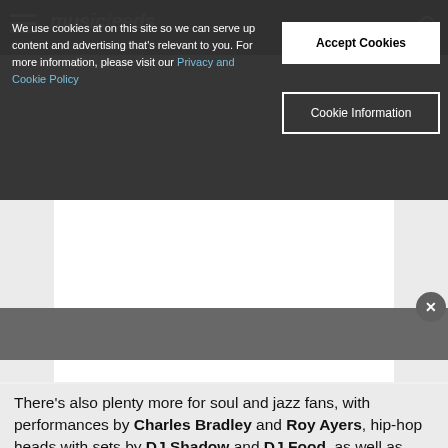musicfeeds (logo/header bar)
We use cookies at on this site so we can serve up content and advertising that's relevant to you. For more information, please visit our Privacy and Cookie Policy
Accept Cookies
Cookie Information
[Figure (other): Advertisement placeholder area with white box and gray band divider, close button (X)]
There’s also plenty more for soul and jazz fans, with performances by Charles Bradley and Roy Ayers, hip-hop heads with sets by DJ Shadow and DJ Food, as well as everything in between. Check below for the full Perth Festival 2014 contemporary